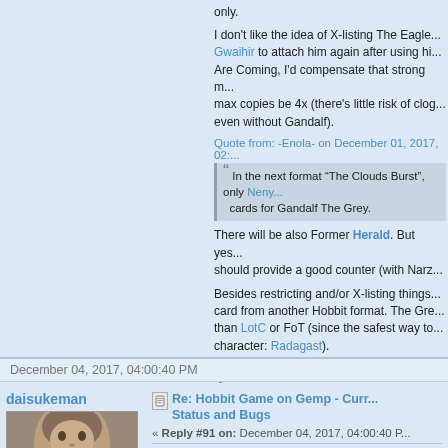I don't like the idea of X-listing The Eagle... Gwaihir to attach him again after using hi... Are Coming, I'd compensate that strong m... max copies be 4x (there's little risk of clog... even without Gandalf).
Quote from: -Enola- on December 01, 2017, 02:...
In the next format "The Clouds Burst", only Neny... cards for Gandalf The Grey.
There will be also Former Herald. But yes... should provide a good counter (with Narz...
Besides restricting and/or X-listing things... card from another Hobbit format. The Gre... than LotC or FoT (since the safest way to... character: Radagast).
« Last Edit: December 02, 2017, 10:59:28 AM by
December 04, 2017, 04:00:40 PM
daisukeman
Re: Hobbit Game on Gemp - Curre... Status and Bugs
« Reply #91 on: December 04, 2017, 04:00:40 P